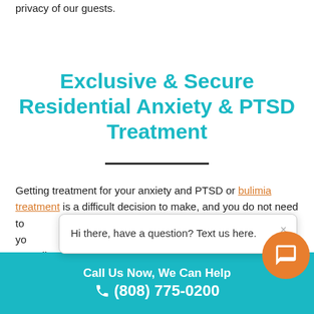privacy of our guests.
Exclusive & Secure Residential Anxiety & PTSD Treatment
Getting treatment for your anxiety and PTSD or bulimia treatment is a difficult decision to make, and you do not need to ... r to ... ke help yo... E... Hawaii ... ate room
[Figure (screenshot): Chat popup with text 'Hi there, have a question? Text us here.' and a close X button]
Call Us Now, We Can Help (808) 775-0200